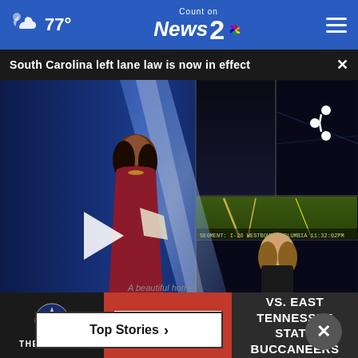77° | Count on News 2 NBC
South Carolina left lane law is now in effect
[Figure (screenshot): News broadcast screenshot showing a female anchor in red dress at a news desk with video wall behind her, and a second reporter on screen. A play button overlay is visible.]
Top Stories ›
[Figure (photo): Advertisement banner for The Citadel: TICKETS ON SALE! SEPT 10 AT 4PM VS. EAST TENNESSEE STATE BUCCANEERS]